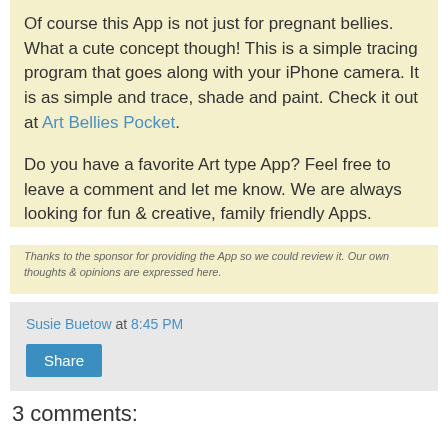Of course this App is not just for pregnant bellies. What a cute concept though!  This is a simple tracing program that goes along with your iPhone camera. It is as simple and trace, shade and paint.  Check it out at Art Bellies Pocket.
Do you have a favorite Art type App? Feel free to leave a comment and let me know. We are always looking for fun & creative, family friendly Apps.
Thanks to the sponsor for providing the App so we could review it. Our own thoughts & opinions are expressed here.
Susie Buetow at 8:45 PM
Share
3 comments: